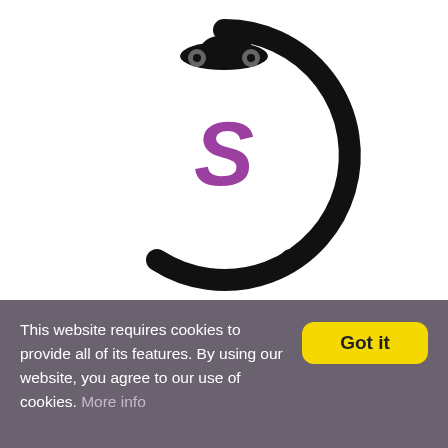[Figure (logo): Circular logo with a black arc (open circle, gap at bottom), a black silhouette of a sports car on top of the arc, and a purple stylized letter S in the center of the circle.]
This website requires cookies to provide all of its features. By using our website, you agree to our use of cookies. More info
Got it